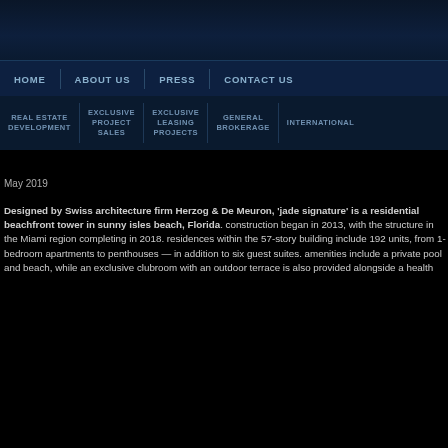HOME   ABOUT US   PRESS   CONTACT US
REAL ESTATE DEVELOPMENT   EXCLUSIVE PROJECT SALES   EXCLUSIVE LEASING PROJECTS   GENERAL BROKERAGE   INTERNATIONAL
May 2019
Designed by Swiss architecture firm Herzog & De Meuron, 'jade signature' is a residential beachfront tower in sunny isles beach, Florida. construction began in 2013, with the structure in the Miami region completing in 2018. residences within the 57-story building include 192 units, from 1-bedroom apartments to penthouses — in addition to six guest suites. amenities include a private pool and beach, while an exclusive clubroom with an outdoor terrace is also provided alongside a health